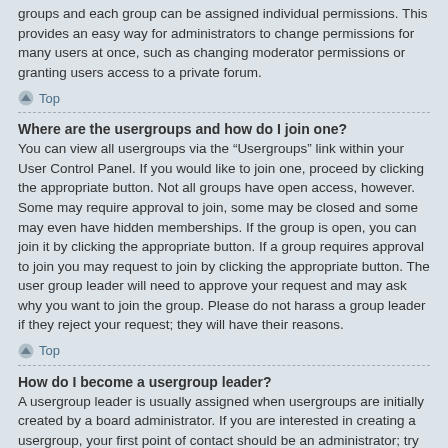groups and each group can be assigned individual permissions. This provides an easy way for administrators to change permissions for many users at once, such as changing moderator permissions or granting users access to a private forum.
Top
Where are the usergroups and how do I join one?
You can view all usergroups via the “Usergroups” link within your User Control Panel. If you would like to join one, proceed by clicking the appropriate button. Not all groups have open access, however. Some may require approval to join, some may be closed and some may even have hidden memberships. If the group is open, you can join it by clicking the appropriate button. If a group requires approval to join you may request to join by clicking the appropriate button. The user group leader will need to approve your request and may ask why you want to join the group. Please do not harass a group leader if they reject your request; they will have their reasons.
Top
How do I become a usergroup leader?
A usergroup leader is usually assigned when usergroups are initially created by a board administrator. If you are interested in creating a usergroup, your first point of contact should be an administrator; try sending a private message.
Top